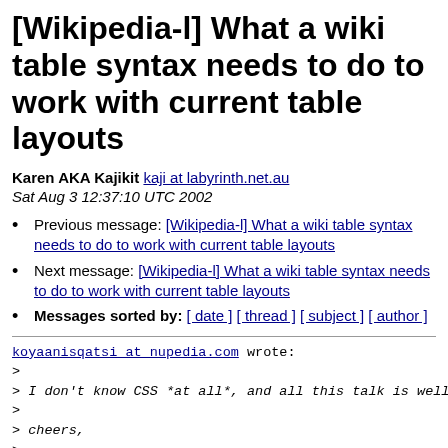[Wikipedia-l] What a wiki table syntax needs to do to work with current table layouts
Karen AKA Kajikit kaji at labyrinth.net.au
Sat Aug 3 12:37:10 UTC 2002
Previous message: [Wikipedia-l] What a wiki table syntax needs to do to work with current table layouts
Next message: [Wikipedia-l] What a wiki table syntax needs to do to work with current table layouts
Messages sorted by: [ date ] [ thread ] [ subject ] [ author ]
koyaanisqatsi at nupedia.com wrote:
>
> I don't know CSS *at all*, and all this talk is well ov
>
> cheers,
>
> kq
>
> Jan wrote (in part):